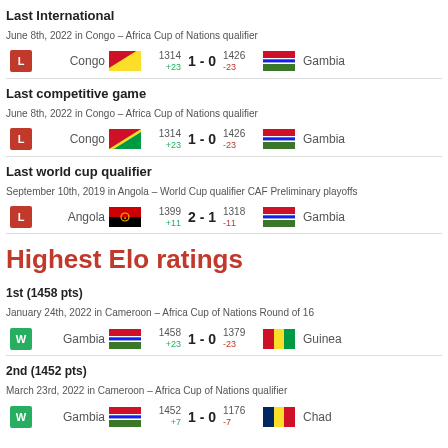Last International
June 8th, 2022 in Congo – Africa Cup of Nations qualifier
| Result | Home | Flag | Home Rating | Score | Away Rating | Flag | Away |
| --- | --- | --- | --- | --- | --- | --- | --- |
| L | Congo |  | 1314 +23 | 1 - 0 | 1426 -23 |  | Gambia |
Last competitive game
June 8th, 2022 in Congo – Africa Cup of Nations qualifier
| Result | Home | Flag | Home Rating | Score | Away Rating | Flag | Away |
| --- | --- | --- | --- | --- | --- | --- | --- |
| L | Congo |  | 1314 +23 | 1 - 0 | 1426 -23 |  | Gambia |
Last world cup qualifier
September 10th, 2019 in Angola – World Cup qualifier CAF Preliminary playoffs
| Result | Home | Flag | Home Rating | Score | Away Rating | Flag | Away |
| --- | --- | --- | --- | --- | --- | --- | --- |
| L | Angola |  | 1399 +11 | 2 - 1 | 1318 -11 |  | Gambia |
Highest Elo ratings
1st (1458 pts)
January 24th, 2022 in Cameroon – Africa Cup of Nations Round of 16
| Result | Home | Flag | Home Rating | Score | Away Rating | Flag | Away |
| --- | --- | --- | --- | --- | --- | --- | --- |
| W | Gambia |  | 1458 +23 | 1 - 0 | 1379 -23 |  | Guinea |
2nd (1452 pts)
March 23rd, 2022 in Cameroon – Africa Cup of Nations qualifier
| Result | Home | Flag | Home Rating | Score | Away Rating | Flag | Away |
| --- | --- | --- | --- | --- | --- | --- | --- |
| W | Gambia |  | 1452 +7 | 1 - 0 | 1176 -7 |  | Chad |